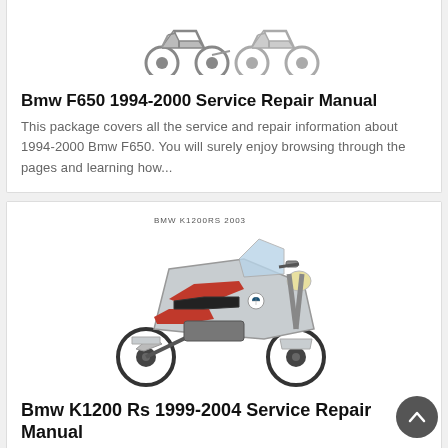[Figure (photo): BMW F650 motorcycle photo, two views (front-left and rear), grey background]
Bmw F650 1994-2000 Service Repair Manual
This package covers all the service and repair information about 1994-2000 Bmw F650. You will surely enjoy browsing through the pages and learning how...
[Figure (photo): BMW K1200RS 2003 motorcycle photo, silver and red sport tourer, left-side view]
Bmw K1200 Rs 1999-2004 Service Repair Manual
With this highly detailed 1999-2004 Bmw K1200 Rs repair manual, you can do most service and repair at the comfort of your garage. So...